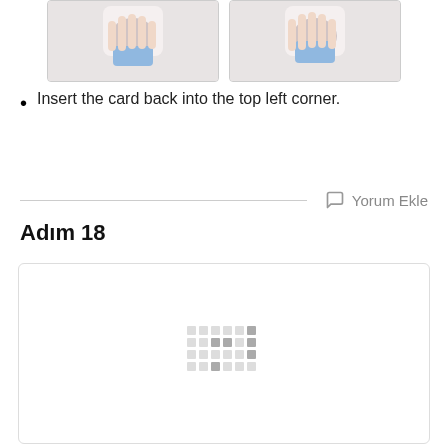[Figure (photo): Two photos side by side showing hands holding a blue object/card]
Insert the card back into the top left corner.
Yorum Ekle
Adım 18
[Figure (photo): Large image box loading, showing a loading spinner icon in the center]